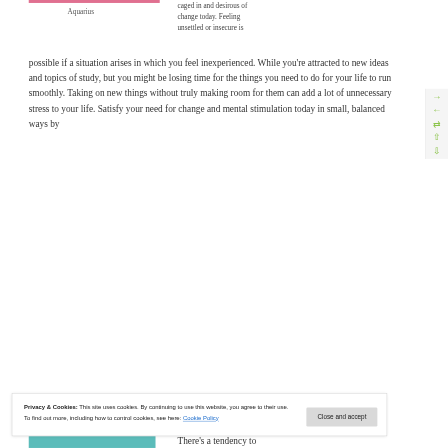Aquarius
caged in and desirous of change today. Feeling unsettled or insecure is possible if a situation arises in which you feel inexperienced. While you're attracted to new ideas and topics of study, but you might be losing time for the things you need to do for your life to run smoothly. Taking on new things without truly making room for them can add a lot of unnecessary stress to your life. Satisfy your need for change and mental stimulation today in small, balanced ways by
Privacy & Cookies: This site uses cookies. By continuing to use this website, you agree to their use.
To find out more, including how to control cookies, see here: Cookie Policy
Close and accept
There's a tendency to